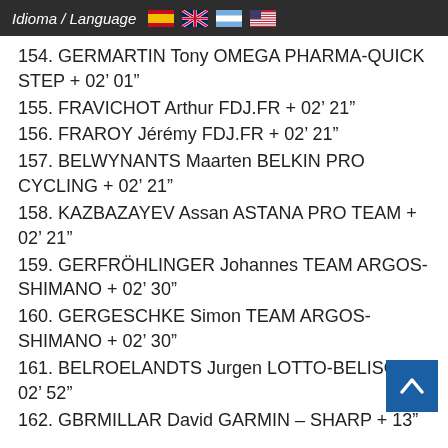Idioma / Language
154. GERMARTIN Tony OMEGA PHARMA-QUICK STEP + 02’ 01”
155. FRAVICHOT Arthur FDJ.FR + 02’ 21”
156. FRAROY Jérémy FDJ.FR + 02’ 21”
157. BELWYNANTS Maarten BELKIN PRO CYCLING + 02’ 21”
158. KAZBAZAYEV Assan ASTANA PRO TEAM + 02’ 21”
159. GERFRÖHLINGER Johannes TEAM ARGOS-SHIMANO + 02’ 30”
160. GERGESCHKE Simon TEAM ARGOS-SHIMANO + 02’ 30”
161. BELROELANDTS Jurgen LOTTO-BELISOL + 02’ 52”
162. GBRMILLAR David GARMIN – SHARP + 13”